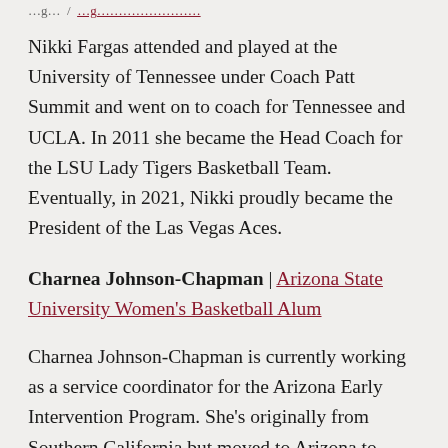…g… / …g…
Nikki Fargas attended and played at the University of Tennessee under Coach Patt Summit and went on to coach for Tennessee and UCLA. In 2011 she became the Head Coach for the LSU Lady Tigers Basketball Team. Eventually, in 2021, Nikki proudly became the President of the Las Vegas Aces.
Charnea Johnson-Chapman | Arizona State University Women's Basketball Alum
Charnea Johnson-Chapman is currently working as a service coordinator for the Arizona Early Intervention Program. She's originally from Southern California but moved to Arizona to attend ASU on a basketball scholarship. She graduated with